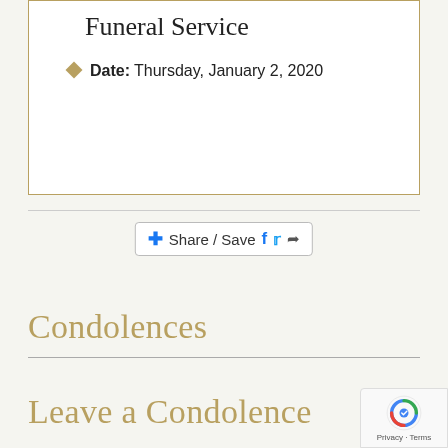Funeral Service
Date: Thursday, January 2, 2020
[Figure (other): Share / Save button with Facebook, Twitter, and share icons]
Condolences
Leave a Condolence
[Figure (other): reCAPTCHA badge with Privacy and Terms text]